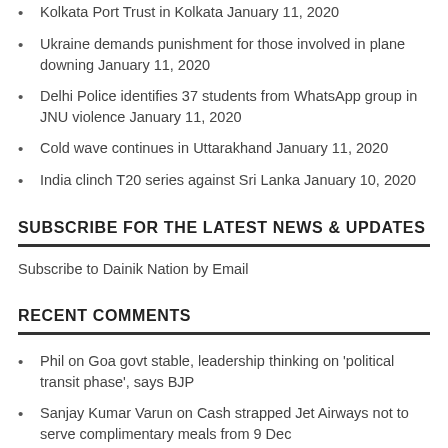Kolkata Port Trust in Kolkata January 11, 2020
Ukraine demands punishment for those involved in plane downing January 11, 2020
Delhi Police identifies 37 students from WhatsApp group in JNU violence January 11, 2020
Cold wave continues in Uttarakhand January 11, 2020
India clinch T20 series against Sri Lanka January 10, 2020
SUBSCRIBE FOR THE LATEST NEWS & UPDATES
Subscribe to Dainik Nation by Email
RECENT COMMENTS
Phil on Goa govt stable, leadership thinking on 'political transit phase', says BJP
Sanjay Kumar Varun on Cash strapped Jet Airways not to serve complimentary meals from 9 Dec
Subodh Pathak on Punjab minister seeks Sidhu's